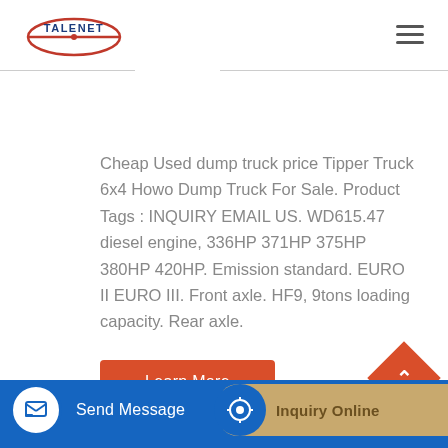[Figure (logo): Talenet logo with red/blue oval and brand name]
Cheap Used dump truck price Tipper Truck 6x4 Howo Dump Truck For Sale. Product Tags : INQUIRY EMAIL US. WD615.47 diesel engine, 336HP 371HP 375HP 380HP 420HP. Emission standard. EURO II EURO III. Front axle. HF9, 9tons loading capacity. Rear axle.
Learn More
Send Message
Inquiry Online